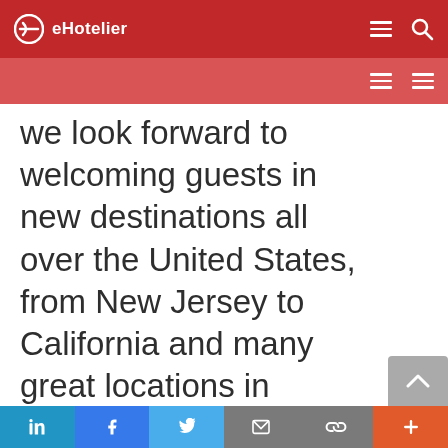eHotelier
we look forward to welcoming guests in new destinations all over the United States, from New Jersey to California and many great locations in
in  f  twitter  mail  link  +